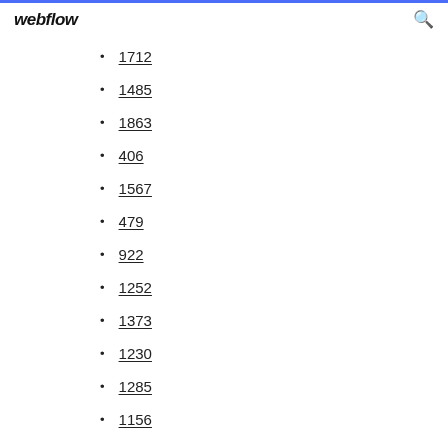webflow
1712
1485
1863
406
1567
479
922
1252
1373
1230
1285
1156